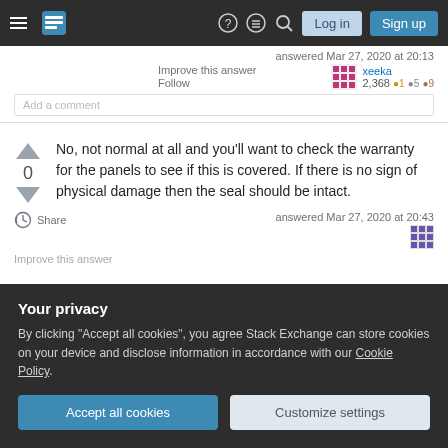Stack Exchange navigation bar with Log in and Sign up buttons
answered Mar 27, 2020 at 20:13
Improve this answer
Follow
Add a comment
xeeka 2,368 ●1 ●5 ●9
No, not normal at all and you'll want to check the warranty for the panels to see if this is covered. If there is no sign of physical damage then the seal should be intact.
Share
answered Mar 27, 2020 at 20:43
Improve this answer
Your privacy
By clicking "Accept all cookies", you agree Stack Exchange can store cookies on your device and disclose information in accordance with our Cookie Policy.
Accept all cookies
Customize settings